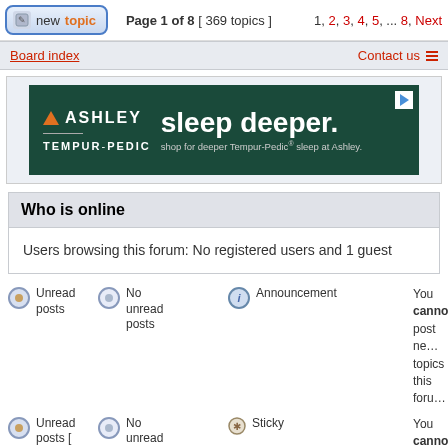Page 1 of 8 [ 369 topics ]  1, 2, 3, 4, 5, ... 8, Next
Board index   Contact us
[Figure (screenshot): Ashley Tempur-Pedic advertisement: sleep deeper. Shop for deeper Tempur-Pedic sleep at Ashley.]
Who is online
Users browsing this forum: No registered users and 1 guest
Unread posts
No unread posts
Announcement
You cannot post new topics in this forum
Unread posts [ Popular ]
No unread posts [ Popular ]
Sticky
You cannot reply to topics in this forum